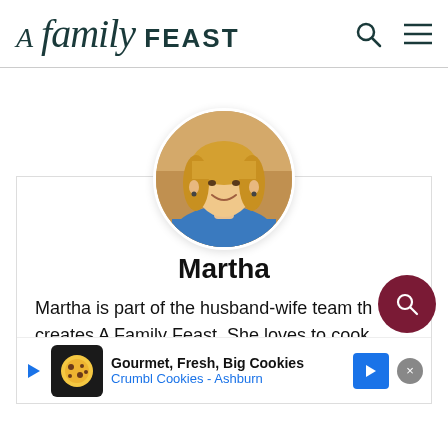A Family Feast
[Figure (photo): Circular profile photo of Martha, a woman with blonde hair wearing a blue top, smiling]
Martha
Martha is part of the husband-wife team that creates A Family Feast. She loves to cook and she believes of
[Figure (infographic): Advertisement banner for Crumbl Cookies - Ashburn: Gourmet, Fresh, Big Cookies]